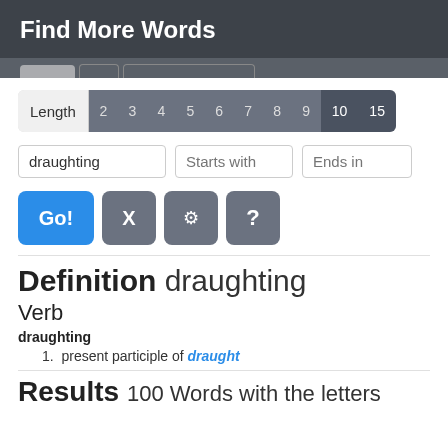Find More Words
[Figure (screenshot): Length filter bar with numbers 2-9 in medium gray and 10, 15 in dark gray, plus tab stubs at top]
[Figure (screenshot): Search input fields: 'draughting', 'Starts with', 'Ends in']
[Figure (screenshot): Buttons: Go! (blue), X (gray), gear icon (gray), ? (gray)]
Definition draughting
Verb
draughting
1. present participle of draught
Results 100 Words with the letters